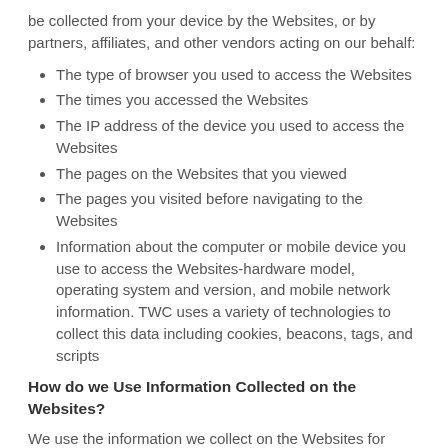be collected from your device by the Websites, or by partners, affiliates, and other vendors acting on our behalf:
The type of browser you used to access the Websites
The times you accessed the Websites
The IP address of the device you used to access the Websites
The pages on the Websites that you viewed
The pages you visited before navigating to the Websites
Information about the computer or mobile device you use to access the Websites-hardware model, operating system and version, and mobile network information. TWC uses a variety of technologies to collect this data including cookies, beacons, tags, and scripts
How do we Use Information Collected on the Websites?
We use the information we collect on the Websites for various purposes based on your request, including but not limited to: